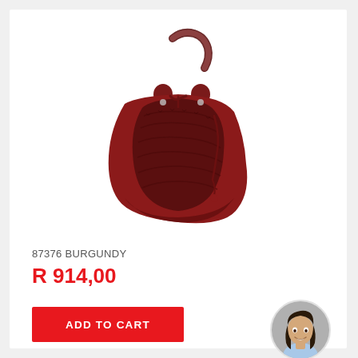[Figure (photo): Burgundy drawstring handbag / bucket bag with snakeskin-texture panel, leather shoulder strap with pattern detail, and tassel/tie closure on white background]
87376 BURGUNDY
R 914,00
ADD TO CART
[Figure (photo): Circular avatar photo of a young woman with long dark hair, smiling, wearing a light blue top]